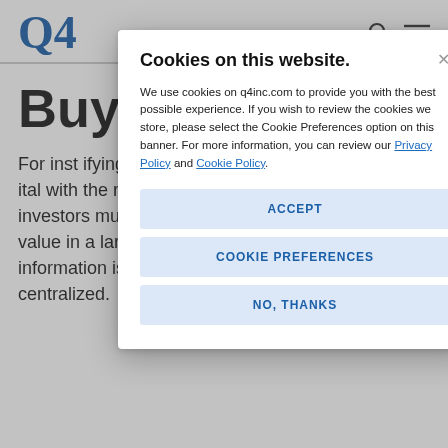Q4
Buy
For inst...ifying and en...ate issuers...isifying the ong...ital with the right issuer. More than ever before, investors must find, parse, and interpret corporate value in a largely digital environment where information is not consistently standardized or centralized.
Cookies on this website.
We use cookies on q4inc.com to provide you with the best possible experience. If you wish to review the cookies we store, please select the Cookie Preferences option on this banner. For more information, you can review our Privacy Policy and Cookie Policy.
ACCEPT
COOKIE PREFERENCES
NO, THANKS